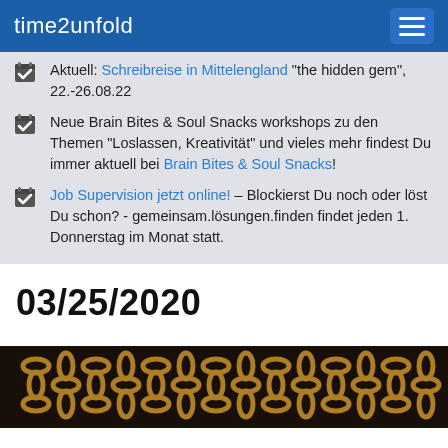time2unfold
Aktuell: Schreibreise in Mittelengland "the hidden gem", 22.-26.08.22
Neue Brain Bites & Soul Snacks workshops zu den Themen "Loslassen, Kreativität" und vieles mehr findest Du immer aktuell bei Brain Bites & Soul Snacks!
Job Supervision jetzt online! – Blockierst Du noch oder löst Du schon? - gemeinsam.lösungen.finden findet jeden 1. Donnerstag im Monat statt.
03/25/2020
[Figure (photo): Dark background with golden chain links pattern]